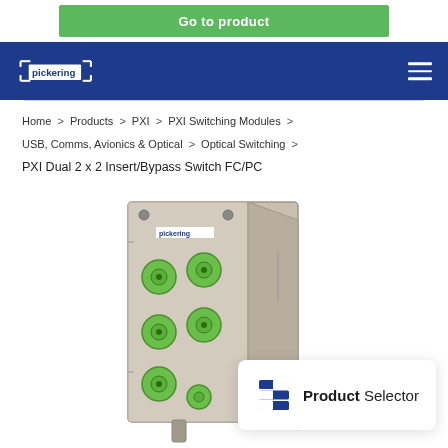[Figure (screenshot): Green 'Go to product' button on white background]
Pickering logo and navigation header bar with hamburger menu
Home > Products > PXI > PXI Switching Modules > USB, Comms, Avionics & Optical > Optical Switching >
PXI Dual 2 x 2 Insert/Bypass Switch FC/PC
[Figure (photo): Pickering PXI Dual 2x2 Insert/Bypass Switch FC/PC product photo showing beige/grey module with six green fiber optic connectors arranged in pairs]
[Figure (logo): Product Selector logo overlay in white rounded rectangle with blue stacked-S icon and 'Product Selector' text]